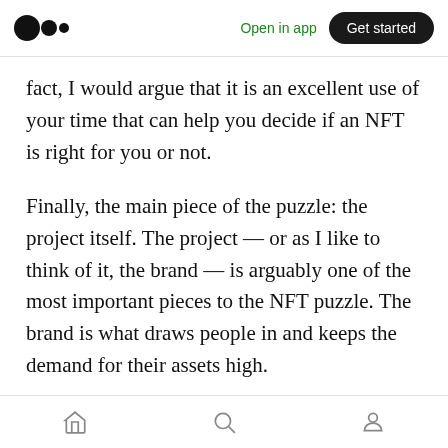Medium app header — Open in app | Get started
fact, I would argue that it is an excellent use of your time that can help you decide if an NFT is right for you or not.
Finally, the main piece of the puzzle: the project itself. The project — or as I like to think of it, the brand — is arguably one of the most important pieces to the NFT puzzle. The brand is what draws people in and keeps the demand for their assets high.
Branding is generally what draws you into a project, and it is what will continue to command
Bottom navigation: Home, Search, Profile